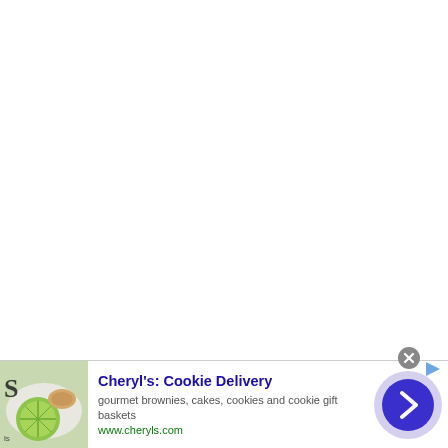[Figure (other): Advertisement banner for Cheryl's Cookie Delivery showing a food image thumbnail on the left, ad text in the middle, and a navigation arrow button on the right]